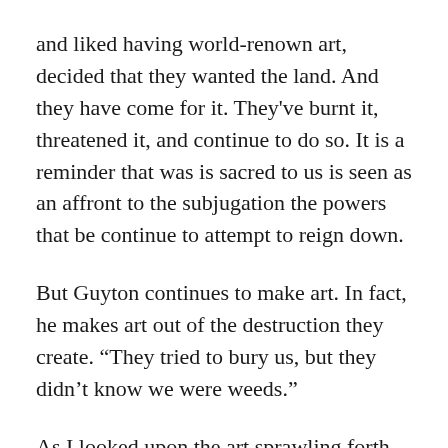and liked having world-renown art, decided that they wanted the land. And they have come for it. They've burnt it, threatened it, and continue to do so. It is a reminder that was is sacred to us is seen as an affront to the subjugation the powers that be continue to attempt to reign down.
But Guyton continues to make art. In fact, he makes art out of the destruction they create. “They tried to bury us, but they didn’t know we were weeds.”
As I looked upon the art sprawling forth along the length of the street, I felt a sense of belonging and tranquility on that quiet